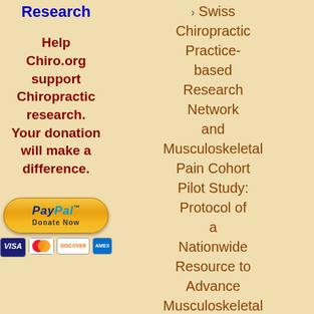Research
Help Chiro.org support Chiropractic research. Your donation will make a difference.
[Figure (other): PayPal Donate Now button with credit card logos (Visa, Mastercard, Discover, American Express)]
> Swiss Chiropractic Practice-based Research Network and Musculoskeletal Pain Cohort Pilot Study: Protocol of a Nationwide Resource to Advance Musculoskeletal Health Services